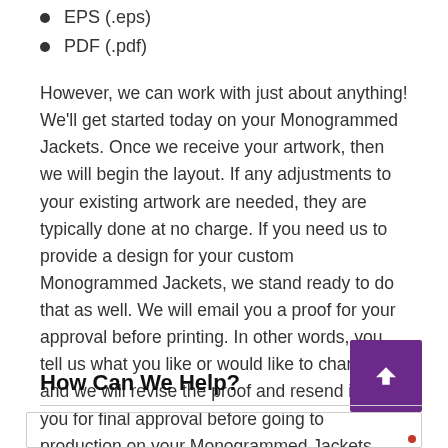EPS (.eps)
PDF (.pdf)
However, we can work with just about anything! We'll get started today on your Monogrammed Jackets. Once we receive your artwork, then we will begin the layout. If any adjustments to your existing artwork are needed, they are typically done at no charge. If you need us to provide a design for your custom Monogrammed Jackets, we stand ready to do that as well. We will email you a proof for your approval before printing. In other words, you tell us what you like or would like to change, and we will revise the proof and resend it to you for final approval before going to production on your Monogrammed Jackets.
How Can We Help?